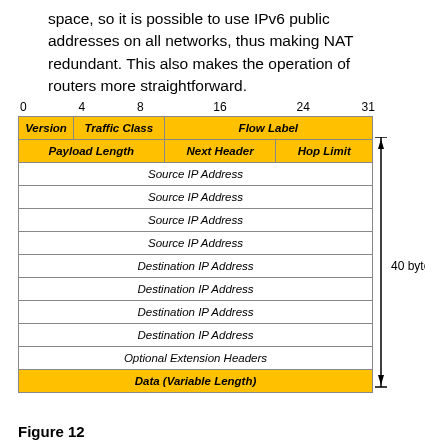space, so it is possible to use IPv6 public addresses on all networks, thus making NAT redundant. This also makes the operation of routers more straightforward.
[Figure (schematic): IPv6 header format diagram showing bit fields: Version, Traffic Class, Flow Label, Payload Length, Next Header, Hop Limit, Source IP Address (4 rows), Destination IP Address (4 rows), Optional Extension Headers, Data (Variable Length). Bit ruler from 0 to 31 shown at top. Right side brace indicates 40 bytes.]
Figure 12